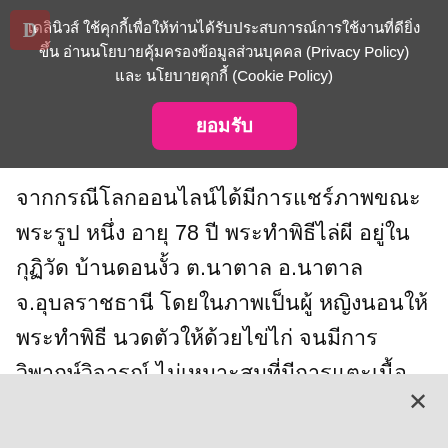เดลินิวส์ ใช้คุกกี้เพื่อให้ท่านได้รับประสบการณ์การใช้งานที่ดียิ่งขึ้น อ่านนโยบายคุ้มครองข้อมูลส่วนบุคคล (Privacy Policy) และ นโยบายคุกกี้ (Cookie Policy)
ยอมรับ
จากกรณีโลกออนไลน์ได้มีการแชร์ภาพขณะพระรูปหนึ่ง อายุ 78 ปี พระทำพิธีไล่ผี อยู่ในกุฏิวัด บ้านดอนงั้ว ต.นาตาล อ.นาตาล จ.อุบลราชธานี โดยในภาพเป็นผู้หญิงนอนให้พระทำพิธี นวดตัวให้ด้วยไข่ไก่ จนมีการวิพากษ์วิจารณ์ ไม่เหมาะสมที่มีการแตะเนื้อต้องตัว ซึ่งเจ้าอาวาสวัดได้ว่ากล่าวตักเตือนหลายครั้ง แต่ก็จนปัญญาไล่ออกจากวัด